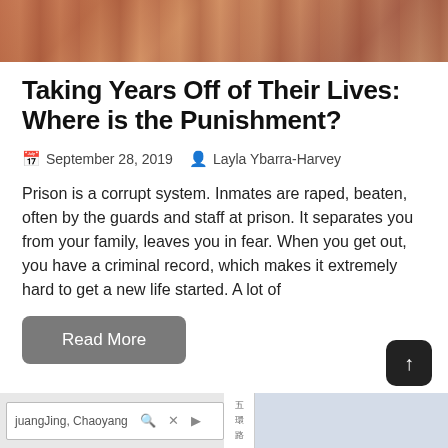[Figure (photo): Hero image showing colorful fabrics or clothing in warm reddish-brown tones]
Taking Years Off of Their Lives: Where is the Punishment?
September 28, 2019   Layla Ybarra-Harvey
Prison is a corrupt system. Inmates are raped, beaten, often by the guards and staff at prison. It separates you from your family, leaves you in fear. When you get out, you have a criminal record, which makes it extremely hard to get a new life started. A lot of
[Figure (screenshot): Read More button in gray, and a map/browser UI strip at the bottom with a search box showing 'juangJing, Chaoyang' and a scroll-to-top button]